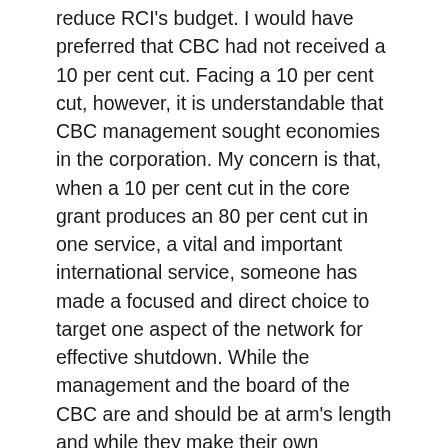reduce RCI's budget. I would have preferred that CBC had not received a 10 per cent cut. Facing a 10 per cent cut, however, it is understandable that CBC management sought economies in the corporation. My concern is that, when a 10 per cent cut in the core grant produces an 80 per cent cut in one service, a vital and important international service, someone has made a focused and direct choice to target one aspect of the network for effective shutdown. While the management and the board of the CBC are and should be at arm's length and while they make their own choices, that does not mean that they are not accountable for the choices they make. One area of accountability should be facing questions from this chamber, as well as the other chamber of Parliament, when necessary.
When a shortwave service, which has been serving the Canadian ideal, Canada and the world, is closed after 67 years, this is not a trivial administrative decision. When a service that could reach around the world is cut to an